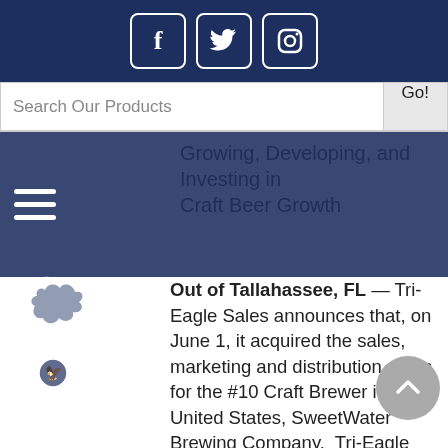[Figure (screenshot): Website header with dark navy background showing social media icons for Facebook, Twitter, and Instagram as white outlined square buttons]
[Figure (screenshot): Search bar with placeholder text 'Search Our Products' and a 'Go!' button]
[Figure (logo): Tri-Eagle Sales logo: white eagle graphic with 'TRI-EAGLE SALES' text in white on navy overlay band]
Growing, Developing, and Investing in Craft Beer Growth
Out of Tallahassee, FL — Tri-Eagle Sales announces that, on June 1, it acquired the sales, marketing and distribution rights for the #10 Craft Brewer in the United States, SweetWater Brewing Company.  Tri-Eagle Sales has immediately commenced the distribution of the SweetWater craft beer brands in its entire territory in North and North Central Florida to expand their demographic reach.